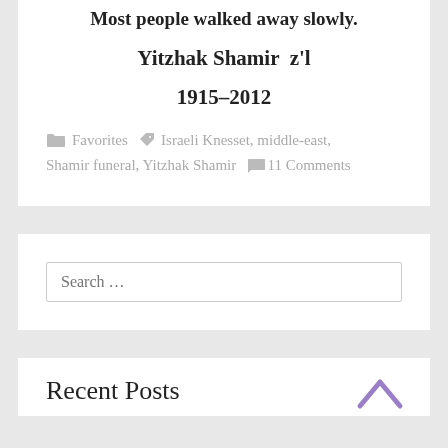Most people walked away slowly.
Yitzhak Shamir  z'l
1915–2012
Favorites   Israeli Knesset, middle-east, Shamir funeral, Yitzhak Shamir   11 Comments
Search ...
Recent Posts